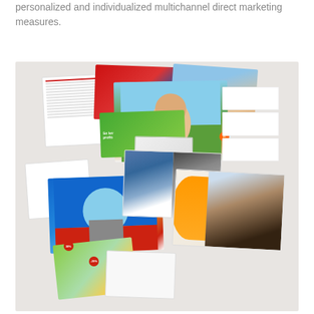personalized and individualized multichannel direct marketing measures.
[Figure (photo): Collage of various personalized direct marketing materials including brochures, letters, postcards, booklets, and promotional cards arranged in two groups against a light gray background.]